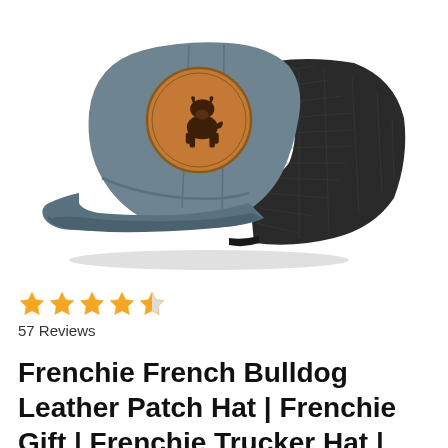[Figure (photo): A grey and black trucker-style snapback hat with a round tan/brown leather patch on the front featuring a dark brown French Bulldog silhouette. The hat has a grey structured front panel and black mesh back. White background.]
★★★★½  57 Reviews
Frenchie French Bulldog Leather Patch Hat | Frenchie Gift | Frenchie Trucker Hat |